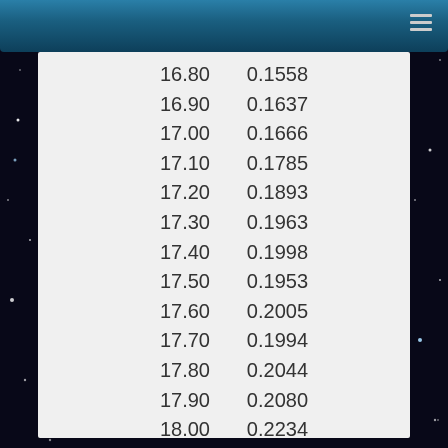| 16.80 | 0.1558 |
| 16.90 | 0.1637 |
| 17.00 | 0.1666 |
| 17.10 | 0.1785 |
| 17.20 | 0.1893 |
| 17.30 | 0.1963 |
| 17.40 | 0.1998 |
| 17.50 | 0.1953 |
| 17.60 | 0.2005 |
| 17.70 | 0.1994 |
| 17.80 | 0.2044 |
| 17.90 | 0.2080 |
| 18.00 | 0.2234 |
| 18.10 | 0.2273 |
| 18.20 | 0.2264 |
| 18.30 | 0.2382 |
| 18.40 | 0.2743 |
| 18.50 | 0.2927 |
| 18.60 | 0.3352 |
| 18.70 | 0.3756 |